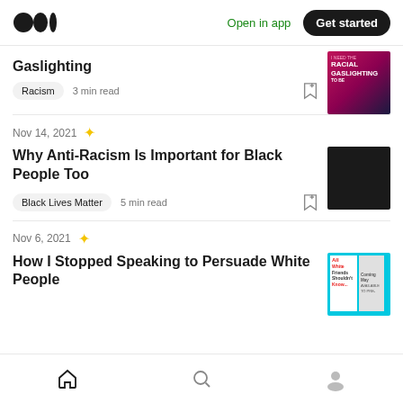Medium — Open in app — Get started
Gaslighting
Racism  3 min read
Nov 14, 2021 ★
Why Anti-Racism Is Important for Black People Too
Black Lives Matter  5 min read
Nov 6, 2021 ★
How I Stopped Speaking to Persuade White People
Home  Search  Profile